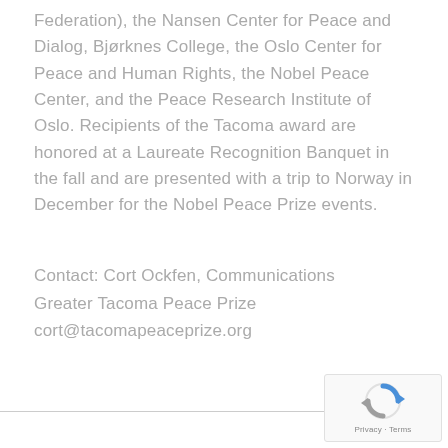Federation), the Nansen Center for Peace and Dialog, Bjørknes College, the Oslo Center for Peace and Human Rights, the Nobel Peace Center, and the Peace Research Institute of Oslo. Recipients of the Tacoma award are honored at a Laureate Recognition Banquet in the fall and are presented with a trip to Norway in December for the Nobel Peace Prize events.
Contact: Cort Ockfen, Communications
Greater Tacoma Peace Prize
cort@tacomapeaceprize.org
[Figure (logo): reCAPTCHA logo with Privacy - Terms label]